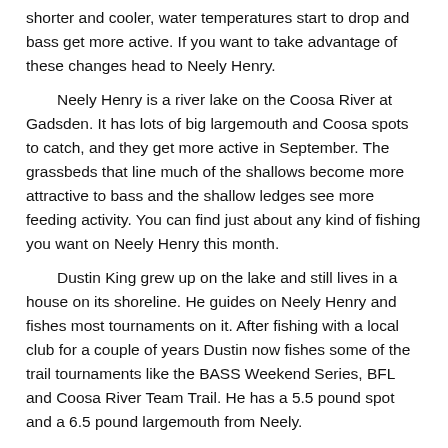shorter and cooler, water temperatures start to drop and bass get more active.  If you want to take advantage of these changes head to Neely Henry.
Neely Henry is a river lake on the Coosa River at Gadsden.  It has lots of big largemouth and Coosa spots to catch, and they get more active in September.  The grassbeds that line much of the shallows become more attractive to bass and the shallow ledges see more feeding activity.  You can find just about any kind of fishing you want on Neely Henry this month.
Dustin King grew up on the lake and still lives in a house on its shoreline.  He guides on Neely Henry and fishes most tournaments on it. After fishing with a local club for a couple of years Dustin now fishes some of the trail tournaments like the BASS Weekend Series, BFL and Coosa River Team Trail.  He has a 5.5 pound spot and a 6.5 pound largemouth from Neely.